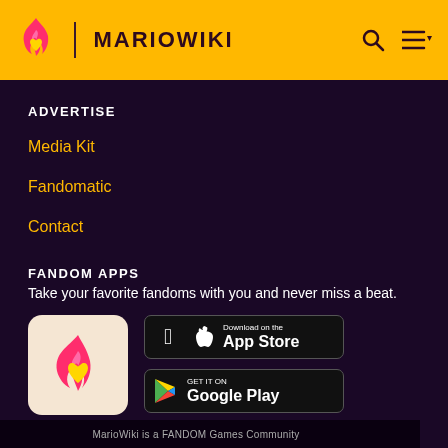MARIOWIKI
ADVERTISE
Media Kit
Fandomatic
Contact
FANDOM APPS
Take your favorite fandoms with you and never miss a beat.
[Figure (logo): Fandom app icon: pink/red flame with yellow heart on cream background]
[Figure (logo): Download on the App Store button (black)]
[Figure (logo): Get it on Google Play button (black)]
MarioWiki is a FANDOM Games Community